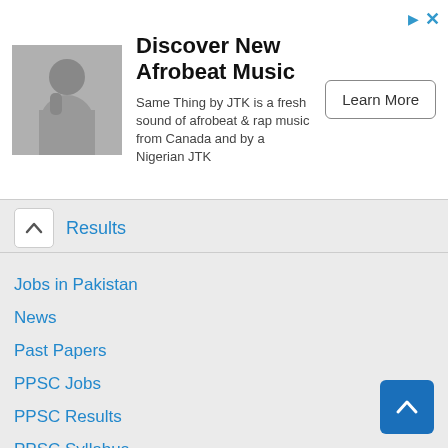[Figure (infographic): Advertisement banner for Afrobeat music by JTK. Contains a photo of a man, ad title 'Discover New Afrobeat Music', description text, and a 'Learn More' button.]
Results
Jobs in Pakistan
News
Past Papers
PPSC Jobs
PPSC Results
PPSC Syllabus
PPSC Upcoming Jobs
Prize bond
Results
Syllabus
Uncategorized